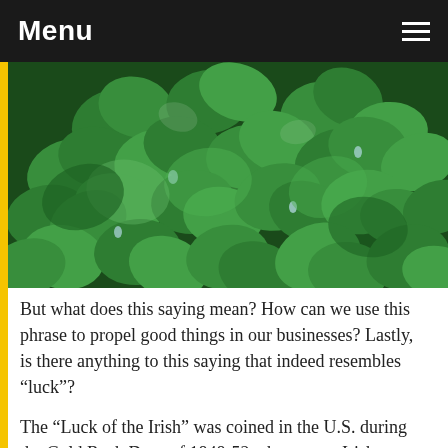Menu
[Figure (photo): Close-up photo of green shamrock/clover leaves with water droplets]
But what does this saying mean? How can we use this phrase to propel good things in our businesses? Lastly, is there anything to this saying that indeed resembles “luck”?
The “Luck of the Irish” was coined in the U.S. during the Gold Rush Days of 1848-52 when many Irishmen migrated from the east to the west looking for gold. Generally, the Irish were treated poorly during this time by other miners, so when the former found gold, the latter attributed their find to dumb luck instead of…